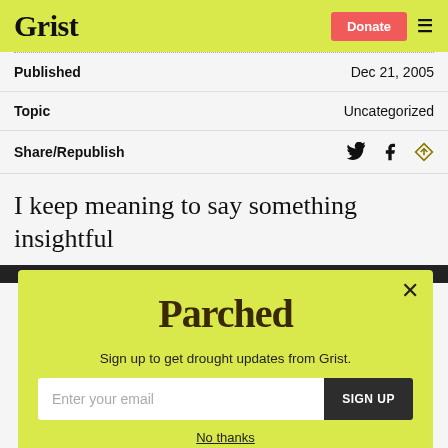Grist | Donate
Published	Dec 21, 2005
Topic	Uncategorized
Share/Republish
I keep meaning to say something insightful
[Figure (other): Parched newsletter signup modal with email input field and Sign Up button on yellow-green background]
No thanks